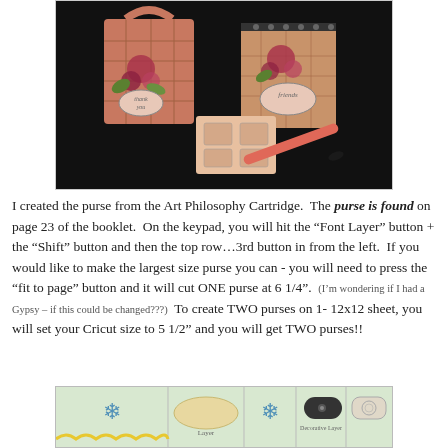[Figure (photo): Photo of craft items on dark background: a pink plaid gift bag/purse with floral decorations and 'thank you' tag, a spiral notebook with floral cover, a small card with stamps, and a pink pen]
I created the purse from the Art Philosophy Cartridge.  The purse is found on page 23 of the booklet.  On the keypad, you will hit the “Font Layer” button + the “Shift” button and then the top row…3rd button in from the left.  If you would like to make the largest size purse you can - you will need to press the “fit to page” button and it will cut ONE purse at 6 1/4”.  (I’m wondering if I had a Gypsy – if this could be changed???)  To create TWO purses on 1- 12x12 sheet, you will set your Cricut size to 5 1/2” and you will get TWO purses!!
[Figure (photo): Partial photo showing craft cartridge keypad/buttons with snowflake designs, oval shapes, and decorative layer labels on a light green background]